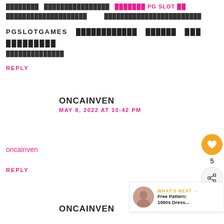████████████████████████ ████████████████████████
PGSLOTGAMES ████████████ ██████ ███ █████████ ███████████████
REPLY
ONCAINVEN
MAY 8, 2022 AT 10:42 PM
oncainven
REPLY
ONCAINVEN